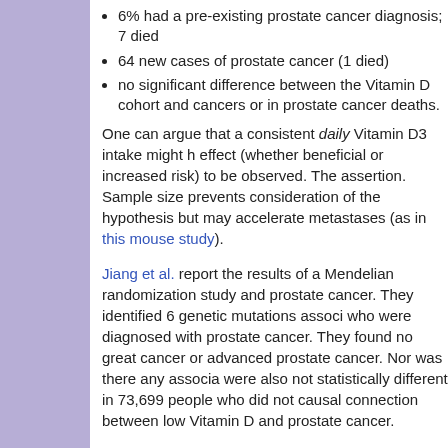6% had a pre-existing prostate cancer diagnosis; 7 died
64 new cases of prostate cancer (1 died)
no significant difference between the Vitamin D cohort and cancers or in prostate cancer deaths.
One can argue that a consistent daily Vitamin D3 intake might have effect (whether beneficial or increased risk) to be observed. The assertion. Sample size prevents consideration of the hypothesis but may accelerate metastases (as in this mouse study).
Jiang et al. report the results of a Mendelian randomization study and prostate cancer. They identified 6 genetic mutations associated who were diagnosed with prostate cancer. They found no greater cancer or advanced prostate cancer. Nor was there any association were also not statistically different in 73,699 people who did not causal connection between low Vitamin D and prostate cancer.
No Effect or Negative Effect on Bone Mineral Density
Some men on hormone therapy take Vitamin D and calcium for
(update 7/27/22) An update of the VITAL randomized clinical trial supplementing Vitamin D vs. people not supplementing it. There calcium or Vitamin D supplements, or serum Vitamin D levels.